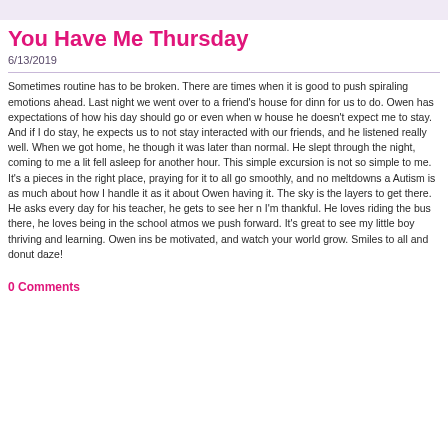You Have Me Thursday
6/13/2019
Sometimes routine has to be broken. There are times when it is good to push spiraling emotions ahead. Last night we went over to a friend's house for dinner for us to do. Owen has expectations of how his day should go or even when we house he doesn't expect me to stay. And if I do stay, he expects us to not stay interacted with our friends, and he listened really well. When we got home, he though it was later than normal. He slept through the night, coming to me a little fell asleep for another hour. This simple excursion is not so simple to me. It's a pieces in the right place, praying for it to all go smoothly, and no meltdowns at Autism is as much about how I handle it as it about Owen having it. The sky is the layers to get there. He asks every day for his teacher, he gets to see her m I'm thankful. He loves riding the bus there, he loves being in the school atmos we push forward. It's great to see my little boy thriving and learning. Owen ins be motivated, and watch your world grow. Smiles to all and donut daze!
0 Comments